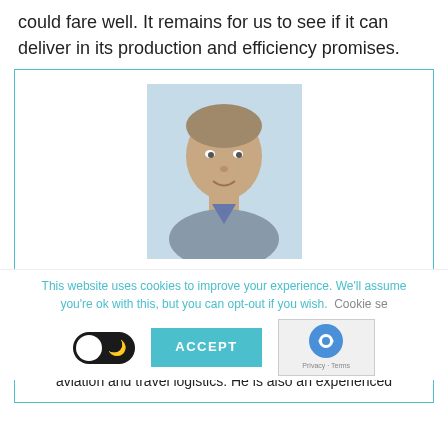could fare well. It remains for us to see if it can deliver in its production and efficiency promises.
[Figure (photo): Headshot photo of Spyros Georgilidakis, a man in a grey shirt, against a light blue background]
Spyros Georgilidakis
Spyros Georgilidakis has degrees in Business Enterprise and Management. He has 14 years of experience in the hospitality and travel industries, along with a passion for all-things-aviation and travel logistics. He is also an experienced
This website uses cookies to improve your experience. We'll assume you're ok with this, but you can opt-out if you wish. Cookie se
ACCEPT